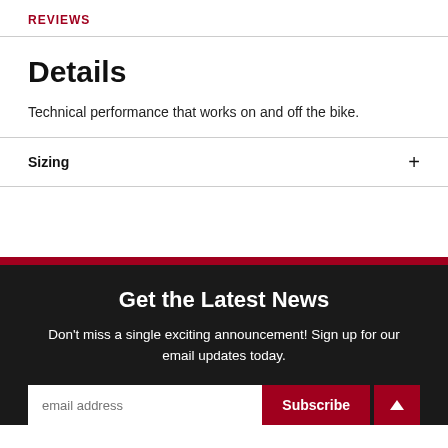REVIEWS
Details
Technical performance that works on and off the bike.
Sizing
Get the Latest News
Don't miss a single exciting announcement! Sign up for our email updates today.
email address  Subscribe